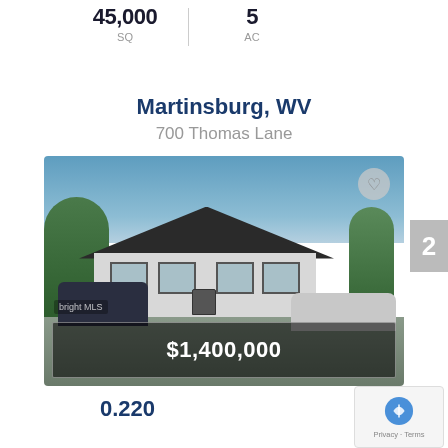45,000 SQ | 5 AC
Martinsburg, WV
700 Thomas Lane
[Figure (photo): Front exterior photo of a white duplex/multi-family home with dark shutters, brick steps, parked cars in gravel lot, price overlay showing $1,400,000]
$1,400,000
0.220